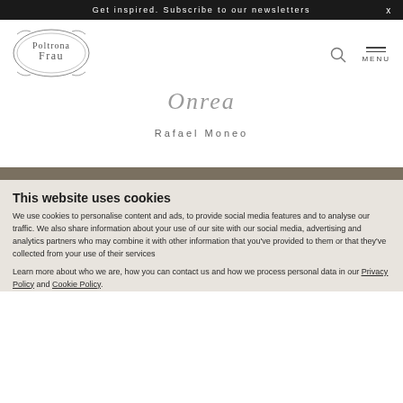Get inspired. Subscribe to our newsletters  x
[Figure (logo): Poltrona Frau oval decorative logo with ornamental border]
Onrea
Rafael Moneo
This website uses cookies
We use cookies to personalise content and ads, to provide social media features and to analyse our traffic. We also share information about your use of our site with our social media, advertising and analytics partners who may combine it with other information that you've provided to them or that they've collected from your use of their services
Learn more about who we are, how you can contact us and how we process personal data in our Privacy Policy and Cookie Policy.